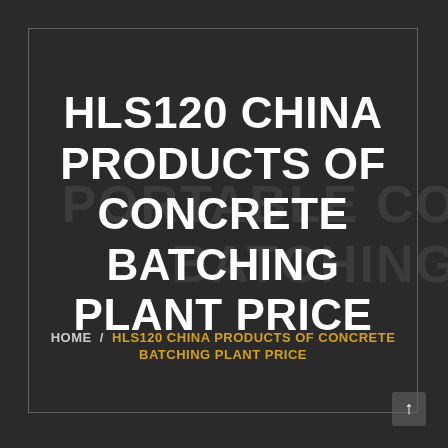[Figure (photo): Dark industrial background showing a portable concrete batching plant with faint text 'PORTABLE CO' and 'BATCHING' visible in background. Dark overlay over the entire image.]
HLS120 CHINA PRODUCTS OF CONCRETE BATCHING PLANT PRICE
HOME / HLS120 CHINA PRODUCTS OF CONCRETE BATCHING PLANT PRICE